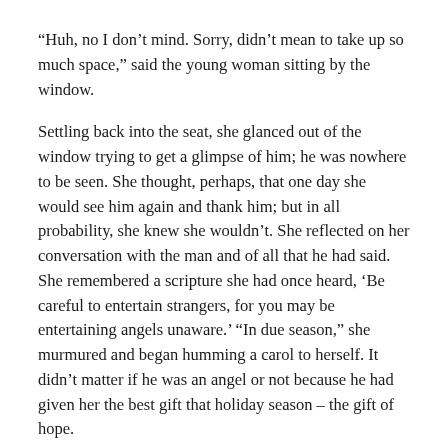“Huh, no I don’t mind. Sorry, didn’t mean to take up so much space,” said the young woman sitting by the window.
Settling back into the seat, she glanced out of the window trying to get a glimpse of him; he was nowhere to be seen. She thought, perhaps, that one day she would see him again and thank him; but in all probability, she knew she wouldn’t. She reflected on her conversation with the man and of all that he had said. She remembered a scripture she had once heard, ‘Be careful to entertain strangers, for you may be entertaining angels unaware.’ “In due season,” she murmured and began humming a carol to herself. It didn’t matter if he was an angel or not because he had given her the best gift that holiday season – the gift of hope.